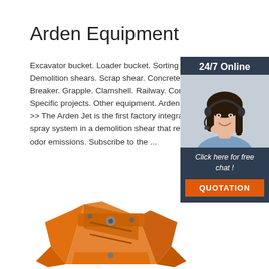Arden Equipment
Excavator bucket. Loader bucket. Sorting grab. Demolition shears. Scrap shear. Concrete crusher. Breaker. Grapple. Clamshell. Railway. Compactor. Specific projects. Other equipment. Arden'Jet. >> The Arden Jet is the first factory integrated spray system in a demolition shear that reduces odor emissions. Subscribe to the ...
[Figure (photo): Customer service representative woman wearing headset smiling, with '24/7 Online' text above and 'Click here for free chat!' text below, and a QUOTATION button]
Get Price
[Figure (photo): Orange-colored excavator demolition shear/attachment equipment photographed from above against white background]